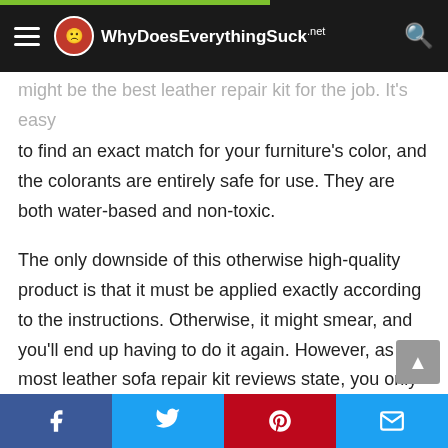WhyDoesEverythingSuck.net
might be the best leather repair kit for the job. It's easy to find an exact match for your furniture's color, and the colorants are entirely safe for use. They are both water-based and non-toxic.
The only downside of this otherwise high-quality product is that it must be applied exactly according to the instructions. Otherwise, it might smear, and you'll end up having to do it again. However, as most leather sofa repair kit reviews state, you only need to follow the instructions to the letter, and you shouldn't have any problems. If the issues do persist, you can always apply a top coat sealant and get rid of the smearing
Facebook | Twitter | Pinterest | Email